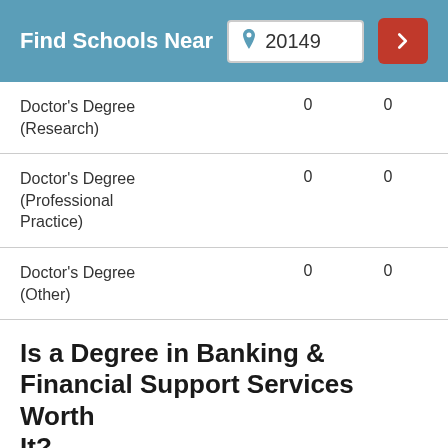[Figure (screenshot): Find Schools Near search bar with zip code 20149 and red go button]
| Degree Type | Col1 | Col2 |
| --- | --- | --- |
| Doctor's Degree (Research) | 0 | 0 |
| Doctor's Degree (Professional Practice) | 0 | 0 |
| Doctor's Degree (Other) | 0 | 0 |
Is a Degree in Banking & Financial Support Services Worth It?
The median salary for a banking and financial support services grad is $38,220 per year. This is based on the